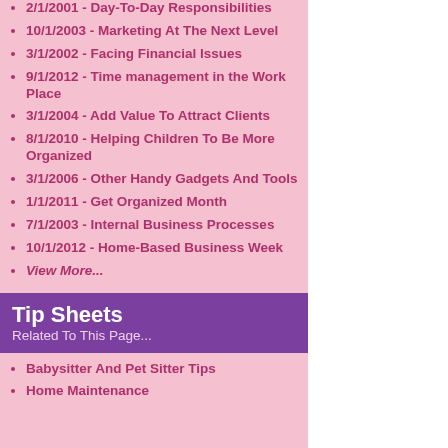2/1/2001 - Day-To-Day Responsibilities
10/1/2003 - Marketing At The Next Level
3/1/2002 - Facing Financial Issues
9/1/2012 - Time management in the Work Place
3/1/2004 - Add Value To Attract Clients
8/1/2010 - Helping Children To Be More Organized
3/1/2006 - Other Handy Gadgets And Tools
1/1/2011 - Get Organized Month
7/1/2003 - Internal Business Processes
10/1/2012 - Home-Based Business Week
View More...
Tip Sheets
Related To This Page...
Babysitter And Pet Sitter Tips
Home Maintenance